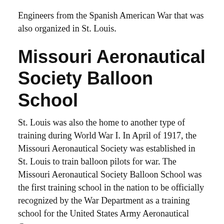Engineers from the Spanish American War that was also organized in St. Louis.
Missouri Aeronautical Society Balloon School
St. Louis was also the home to another type of training during World War I. In April of 1917, the Missouri Aeronautical Society was established in St. Louis to train balloon pilots for war. The Missouri Aeronautical Society Balloon School was the first training school in the nation to be officially recognized by the War Department as a training school for the United States Army Aeronautical Corps.
Scott Air Force Base
[Figure (photo): Exterior photo of a building at Scott Air Force Base, showing a blue sky and brick structure.]
Scott Field, now known